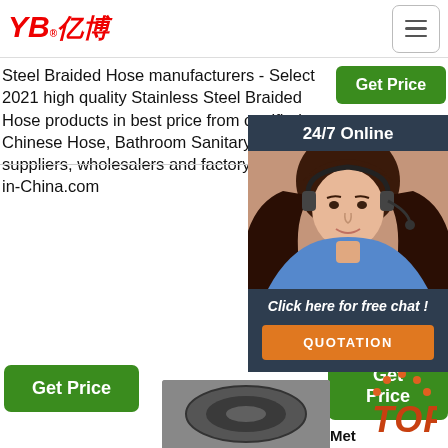YB亿博® [logo] [hamburger menu]
Steel Braided Hose manufacturers - Select 2021 high quality Stainless Steel Braided Hose products in best price from certified Chinese Hose, Bathroom Sanitary Ware suppliers, wholesalers and factory on Made-in-China.com
Get Price [button]
Black Nylon Ss Sta Bra Rub Coc AnE An1 E2C Tur US Min Met
[Figure (photo): Chat widget with woman wearing headset, '24/7 Online' header, 'Click here for free chat!' text, and orange QUOTATION button]
Get Price [button bottom left]
Get Price [button bottom right]
[Figure (photo): TOP button with orange dots and stylized red italic TOP text]
[Figure (photo): Product image at bottom center]